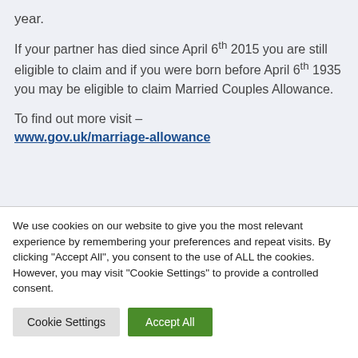year.
If your partner has died since April 6th 2015 you are still eligible to claim and if you were born before April 6th 1935 you may be eligible to claim Married Couples Allowance.
To find out more visit – www.gov.uk/marriage-allowance
We use cookies on our website to give you the most relevant experience by remembering your preferences and repeat visits. By clicking "Accept All", you consent to the use of ALL the cookies. However, you may visit "Cookie Settings" to provide a controlled consent.